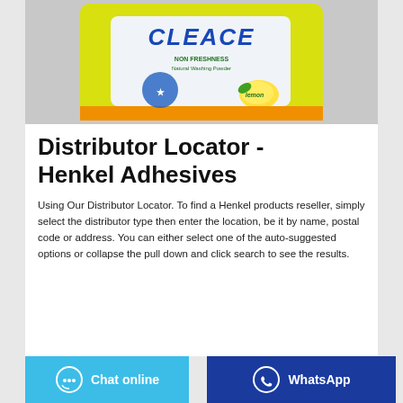[Figure (photo): Product image of a yellow/green washing powder bag labeled CLEACE with lemon scent, NON FRESHNESS text visible]
Distributor Locator - Henkel Adhesives
Using Our Distributor Locator. To find a Henkel products reseller, simply select the distributor type then enter the location, be it by name, postal code or address. You can either select one of the auto-suggested options or collapse the pull down and click search to see the results.